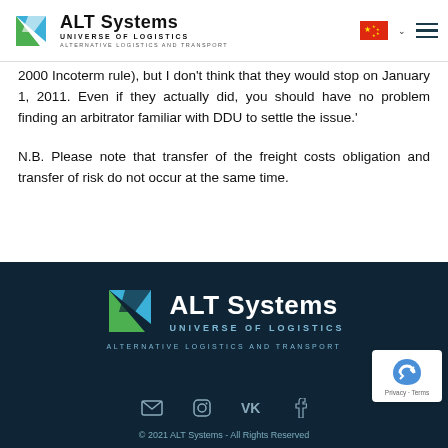ALT Systems — UNIVERSE OF LOGISTICS — ALTERNATIVE LOGISTICS AND TRANSPORT
2000 Incoterm rule), but I don't think that they would stop on January 1, 2011. Even if they actually did, you should have no problem finding an arbitrator familiar with DDU to settle the issue.'
N.B. Please note that transfer of the freight costs obligation and transfer of risk do not occur at the same time.
ALT Systems — UNIVERSE OF LOGISTICS — ALTERNATIVE LOGISTICS AND TRANSPORT — © 2021 ALT Systems - All Rights Reserved